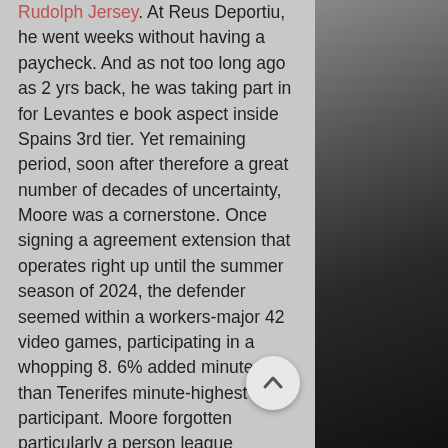Rudolph Jersey. At Reus Deportiu, he went weeks without having a paycheck. And as not too long ago as 2 yrs back, he was taking part in for Levantes e book aspect inside Spains 3rd tier. Yet remaining period, soon after therefore a great number of decades of uncertainty, Moore was a cornerstone. Once signing a agreement extension that operates right up until the summer season of 2024, the defender seemed within a workers-major 42 video games, participating in a whopping 8. 6% added minutes than Tenerifes minute-highest busy participant. Moore forgotten particularly a person league recreation all year as the Canarians carried out 14th inside a aggressive Segunda. There experienced been a ton of upheaval. Previously, he was sooner or later demonstrated. Nonetheless the moment talking about it, Moore switches again celebratory in direction of cerebral approximately right away. Its relating to